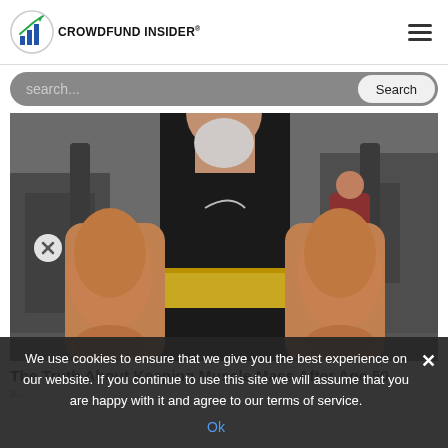CROWDFUND INSIDER
search...
[Figure (photo): An older muscular man in a gym wearing a black tank top and gold weightlifting belt, showing very muscular forearms, with gym equipment in the background. A close X button is visible on the left side of the image.]
The Truth About Keeping Muscle Mass After Age 50
We use cookies to ensure that we give you the best experience on our website. If you continue to use this site we will assume that you are happy with it and agree to our terms of service.
Ok